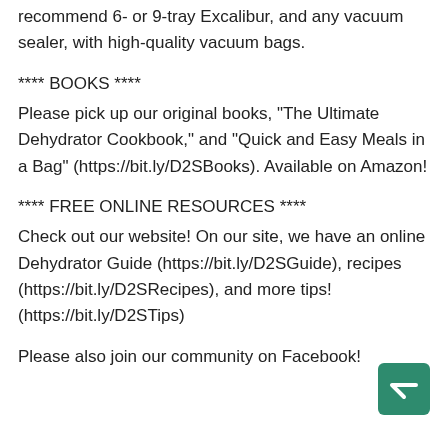recommend 6- or 9-tray Excalibur, and any vacuum sealer, with high-quality vacuum bags.
**** BOOKS ****
Please pick up our original books, "The Ultimate Dehydrator Cookbook," and "Quick and Easy Meals in a Bag" (https://bit.ly/D2SBooks). Available on Amazon!
**** FREE ONLINE RESOURCES ****
Check out our website! On our site, we have an online Dehydrator Guide (https://bit.ly/D2SGuide), recipes (https://bit.ly/D2SRecipes), and more tips! (https://bit.ly/D2STips)
Please also join our community on Facebook!